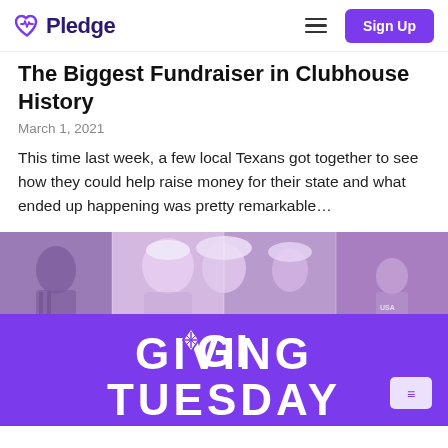Pledge — Sign Up
The Biggest Fundraiser in Clubhouse History
March 1, 2021
This time last week, a few local Texans got together to see how they could help raise money for their state and what ended up happening was pretty remarkable…
[Figure (photo): Giving Tuesday promotional image showing collage of people with purple overlay banner reading GIVING TUESDAY]